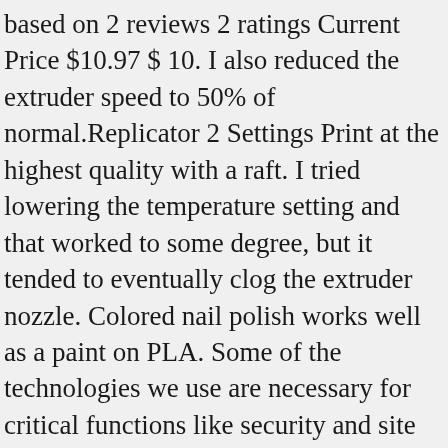based on 2 reviews 2 ratings Current Price $10.97 $ 10. I also reduced the extruder speed to 50% of normal.Replicator 2 Settings Print at the highest quality with a raft. I tried lowering the temperature setting and that worked to some degree, but it tended to eventually clog the extruder nozzle. Colored nail polish works well as a paint on PLA. Some of the technologies we use are necessary for critical functions like security and site integrity, account authentication, security and privacy preferences, internal site usage and maintenance data, and to make the site work correctly for browsing and transactions. This video wraps up the finish shaping and detail carving on the Knights. The minimum width of a single wall is about .018". Write a review. In stock in selected store 2 - 5 days. About: I believe that the purpose of life is to learn how to do our best and not give in to the weaker way. It requires modifications in the spacing,